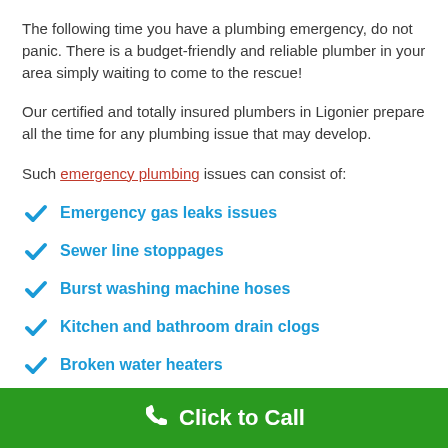The following time you have a plumbing emergency, do not panic. There is a budget-friendly and reliable plumber in your area simply waiting to come to the rescue!
Our certified and totally insured plumbers in Ligonier prepare all the time for any plumbing issue that may develop.
Such emergency plumbing issues can consist of:
Emergency gas leaks issues
Sewer line stoppages
Burst washing machine hoses
Kitchen and bathroom drain clogs
Broken water heaters
Emerg...
Click to Call